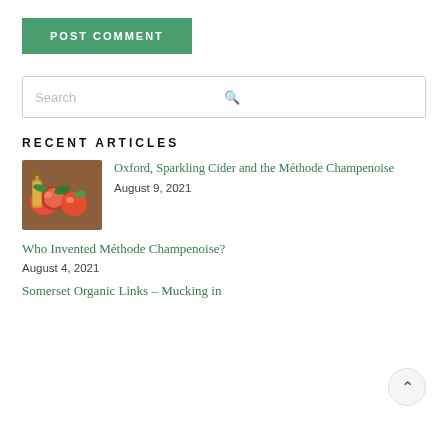POST COMMENT
Search
RECENT ARTICLES
[Figure (photo): Photo of apples and a glass bottle of apple cider/juice on a wooden surface]
Oxford, Sparkling Cider and the Méthode Champenoise
August 9, 2021
Who Invented Méthode Champenoise?
August 4, 2021
Somerset Organic Links – Mucking in